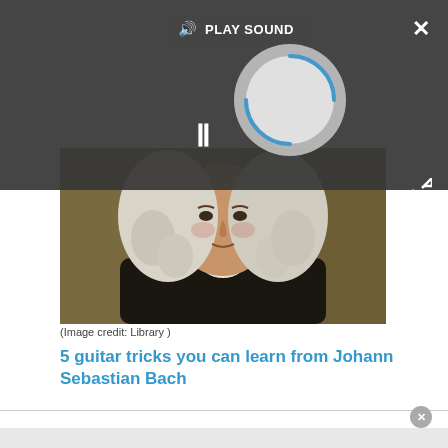[Figure (screenshot): Audio player overlay with dark background, speaker/play-sound button, loading spinner, and pause button]
[Figure (photo): Portrait painting of Johann Sebastian Bach wearing a white wig and dark coat]
(Image credit: Library )
5 guitar tricks you can learn from Johann Sebastian Bach